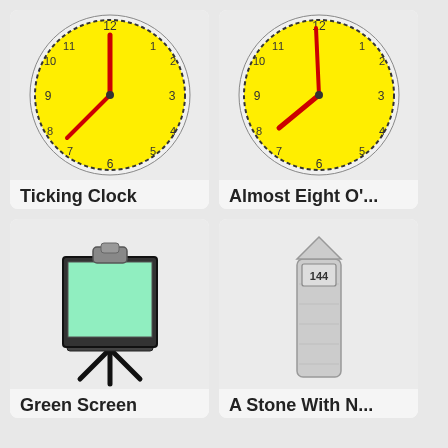[Figure (illustration): Yellow analog clock showing approximately 12:44, with red hour and minute hands, dashed border circle, numbers 1-12]
Ticking Clock
2 ♥
[Figure (illustration): Yellow analog clock showing approximately 7:58, with red hour and minute hands, dashed border circle, numbers 1-12]
Almost Eight O'...
2 ♥
[Figure (illustration): Green screen / presentation board on a tripod stand with clipboard clip at top]
Green Screen
2 ♥
[Figure (illustration): A tall stone monument or milestone with number 144 on a plaque at the top]
A Stone With N...
2 ♥